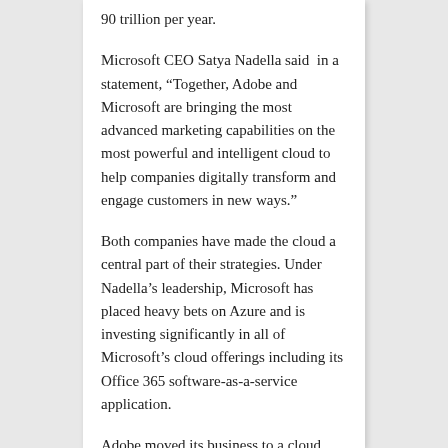90 trillion per year.
Microsoft CEO Satya Nadella said in a statement, “Together, Adobe and Microsoft are bringing the most advanced marketing capabilities on the most powerful and intelligent cloud to help companies digitally transform and engage customers in new ways.”
Both companies have made the cloud a central part of their strategies. Under Nadella’s leadership, Microsoft has placed heavy bets on Azure and is investing significantly in all of Microsoft’s cloud offerings including its Office 365 software-as-a-service application.
Adobe moved its business to a cloud model a couple of years ago, and the move is paying off.  Adobe’s most recent financial results —